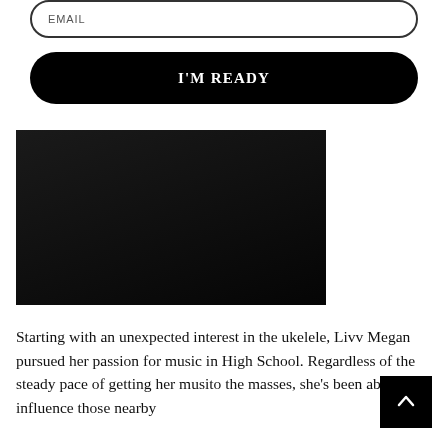EMAIL
I'M READY
[Figure (photo): Dark/black rectangular image or video thumbnail area]
Starting with an unexpected interest in the ukelele, Livv Megan pursued her passion for music in High School. Regardless of the steady pace of getting her music to the masses, she's been able to influence those nearby